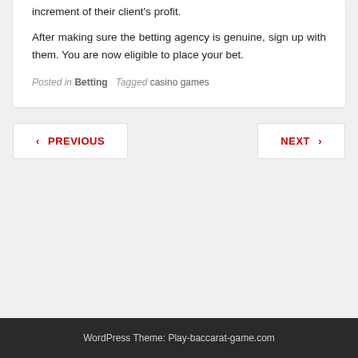increment of their client's profit.
After making sure the betting agency is genuine, sign up with them. You are now eligible to place your bet.
Posted in Betting   Tagged casino games
PREVIOUS
NEXT
WordPress Theme: Play-baccarat-game.com